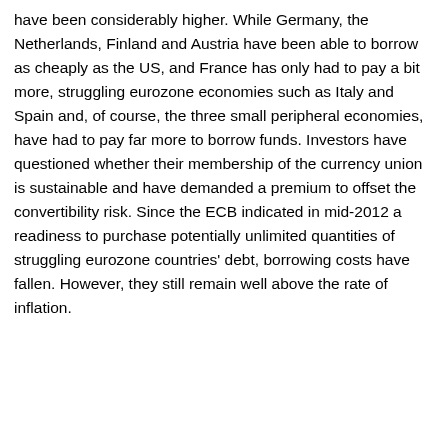have been considerably higher. While Germany, the Netherlands, Finland and Austria have been able to borrow as cheaply as the US, and France has only had to pay a bit more, struggling eurozone economies such as Italy and Spain and, of course, the three small peripheral economies, have had to pay far more to borrow funds. Investors have questioned whether their membership of the currency union is sustainable and have demanded a premium to offset the convertibility risk. Since the ECB indicated in mid-2012 a readiness to purchase potentially unlimited quantities of struggling eurozone countries' debt, borrowing costs have fallen. However, they still remain well above the rate of inflation.